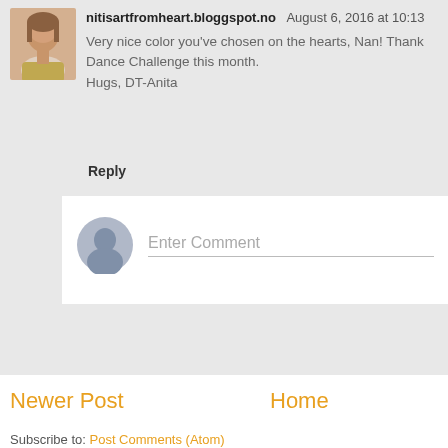nitisartfromheart.bloggspot.no August 6, 2016 at 10:13
Very nice color you've chosen on the hearts, Nan! Thank... Dance Challenge this month.
Hugs, DT-Anita
Reply
[Figure (other): Enter Comment input field with ghost avatar icon]
Newer Post
Home
Subscribe to: Post Comments (Atom)
[Figure (photo): Beach/desert sandy landscape photo at bottom of page]